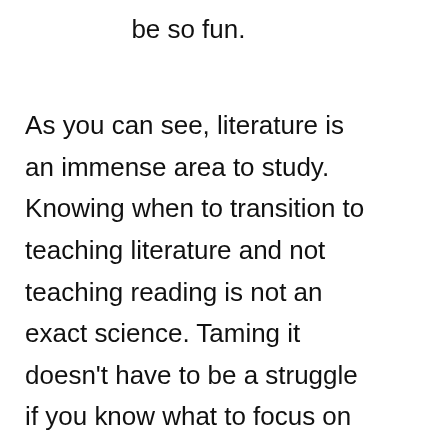be so fun.
As you can see, literature is an immense area to study. Knowing when to transition to teaching literature and not teaching reading is not an exact science. Taming it doesn't have to be a struggle if you know what to focus on at which ages or levels.
[Figure (other): Social share widget showing a teal/cyan share button with count 144]
[Figure (other): Homeschool Kickstarter promotional card in teal with avatar image]
Wellness Products That Work As Hard As You
[Figure (logo): Walgreens logo with navigation arrow and audio icon in black advertisement bar]